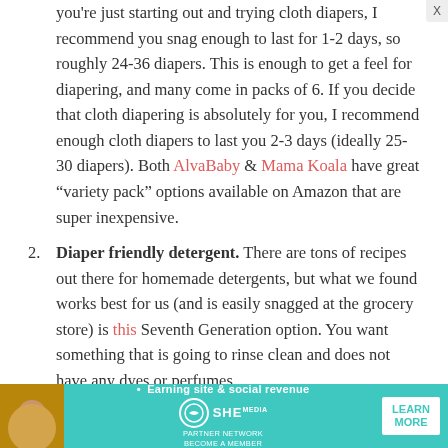you're just starting out and trying cloth diapers, I recommend you snag enough to last for 1-2 days, so roughly 24-36 diapers. This is enough to get a feel for diapering, and many come in packs of 6. If you decide that cloth diapering is absolutely for you, I recommend enough cloth diapers to last you 2-3 days (ideally 25-30 diapers). Both AlvaBaby & Mama Koala have great "variety pack" options available on Amazon that are super inexpensive.
2. Diaper friendly detergent. There are tons of recipes out there for homemade detergents, but what we found works best for us (and is easily snagged at the grocery store) is this Seventh Generation option. You want something that is going to rinse clean and does not have any dyes or perfumes.
3. Wet bags! I recommend 3 travel ones. I keep on
[Figure (infographic): SHE Media advertisement banner: teal background with a woman photo on the left, text 'Earning site & social revenue' with SHE PARTNER NETWORK logo, and a 'LEARN MORE' button on the right.]